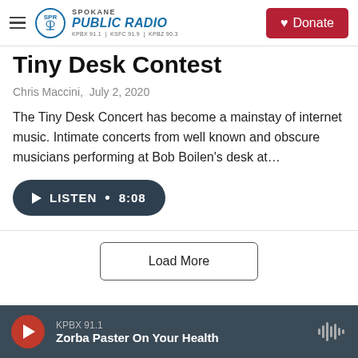Spokane Public Radio — KPBX 91.1 | KSFC 91.9 | KPBZ 90.3 | Donate
Tiny Desk Contest
Chris Maccini,  July 2, 2020
The Tiny Desk Concert has become a mainstay of internet music. Intimate concerts from well known and obscure musicians performing at Bob Boilen's desk at…
LISTEN • 8:08
Load More
KPBX 91.1 — Zorba Paster On Your Health